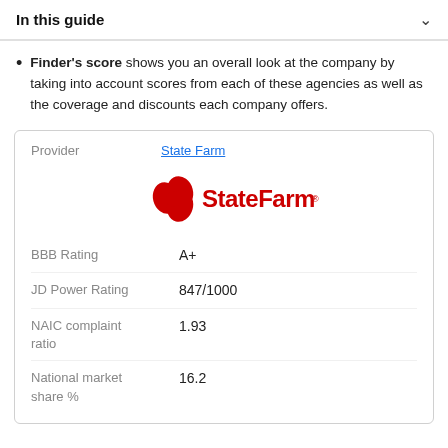In this guide
Finder's score shows you an overall look at the company by taking into account scores from each of these agencies as well as the coverage and discounts each company offers.
| Provider | State Farm |
| --- | --- |
| BBB Rating | A+ |
| JD Power Rating | 847/1000 |
| NAIC complaint ratio | 1.93 |
| National market share % | 16.2 |
[Figure (logo): State Farm logo in red with three oval shapes and 'State Farm' text in red]